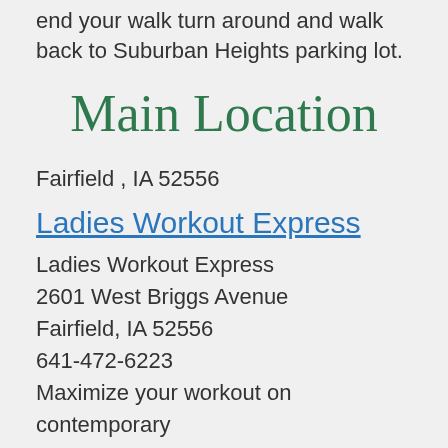end your walk turn around and walk back to Suburban Heights parking lot.
Main Location
Fairfield , IA 52556
Ladies Workout Express
Ladies Workout Express
2601 West Briggs Avenue
Fairfield, IA 52556
641-472-6223
Maximize your workout on contemporary